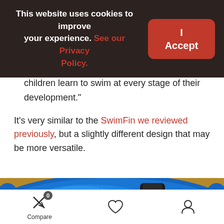This website uses cookies to improve your experience. See our Privacy Policy.
I Accept
children learn to swim at every stage of their development."
It’s very similar to the SwimFin we reviewed previously, but a slightly different design that may be more versatile.
[Figure (photo): Close-up photo of a blue foam swim float/aid with a black strap or buckle across it, resting on a wooden surface.]
Compare